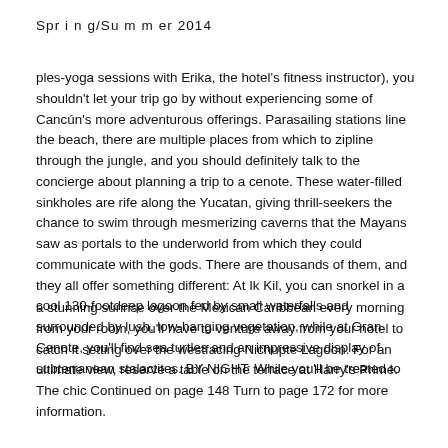Spring/Summer 2014
ples-yoga sessions with Erika, the hotel's fitness instructor), you shouldn't let your trip go by without experiencing some of Cancún's more adventurous offerings. Parasailing stations line the beach, there are multiple places from which to zipline through the jungle, and you should definitely talk to the concierge about planning a trip to a cenote. These water-filled sinkholes are rife along the Yucatan, giving thrill-seekers the chance to swim through mesmerizing caverns that the Mayans saw as portals to the underworld from which they could communicate with the gods. There are thousands of them, and they all offer something different: At Ik Kil, you can snorkel in a cool 130-footdeep lagoon fed by small waterfalls and surrounded by lush, low-hanging vegetation, while at Gran Cenote, you'll find sea turtles and an impressive display of subterranean stalactites. BY NIGHT: While you'll be treated to
a stunning sunrise over the Mexican Caribbean every morning from your room, you'll have to venture away from your hotel to catch it setting over the westfacing Nichupte Lagoon. For an ultimate view, reserve a table on the terrace at Harry's Prime. The chic Continued on page 148 Turn to page 172 for more information.